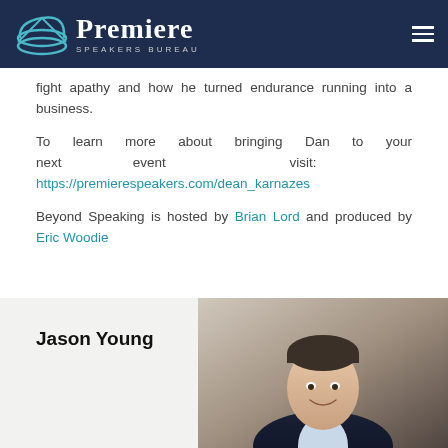Premiere Speakers Bureau
fight apathy and how he turned endurance running into a business.
To learn more about bringing Dan to your next event visit: https://premierespeakers.com/dean_karnazes
Beyond Speaking is hosted by Brian Lord and produced by Eric Woodie
Jason Young
[Figure (photo): Headshot photo of Jason Young, a man in a dark suit jacket, smiling, photographed outdoors]